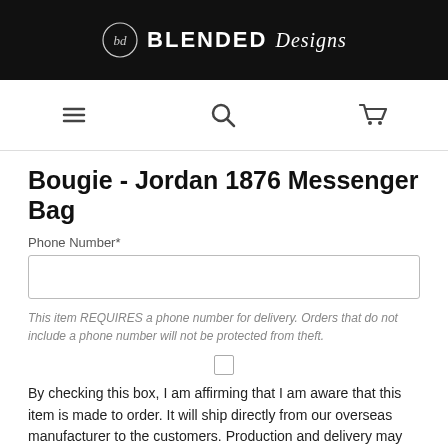[Figure (logo): Blended Designs logo with circular BD monogram and text 'BLENDED Designs' on black background]
[Figure (infographic): Navigation bar with hamburger menu icon, search icon, and shopping cart icon]
Bougie - Jordan 1876 Messenger Bag
Phone Number*
This item REQUIRES a phone number for delivery. Orders that do not include a phone number will not be protected from theft.
By checking this box, I am affirming that I am aware that this item is made to order. It will ship directly from our overseas manufacturer to the customers. Production and delivery may